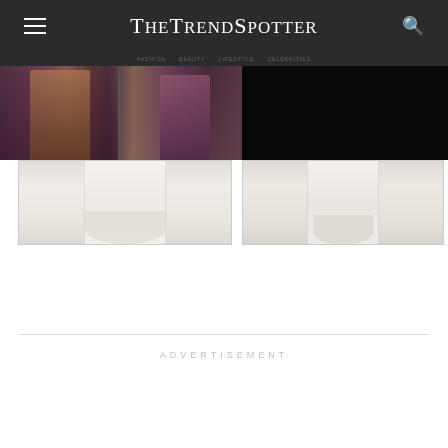TheTrendSpotter
[Figure (photo): Fashion photo strip showing models in colorful outfits outdoors with tropical plants]
[Figure (photo): Dark/black area on right side of header strip]
[Figure (photo): White lace fabric garment closeup, left panel]
[Figure (photo): White lace fabric garment closeup, right panel]
ADVERTISEMENT